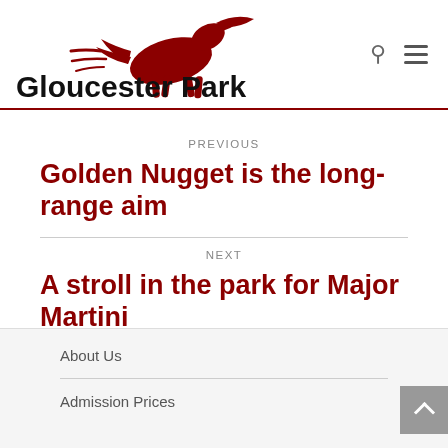[Figure (logo): Gloucester Park logo with running horse in dark red and text 'Gloucester Park' in bold black]
PREVIOUS
Golden Nugget is the long-range aim
NEXT
A stroll in the park for Major Martini
About Us
Admission Prices